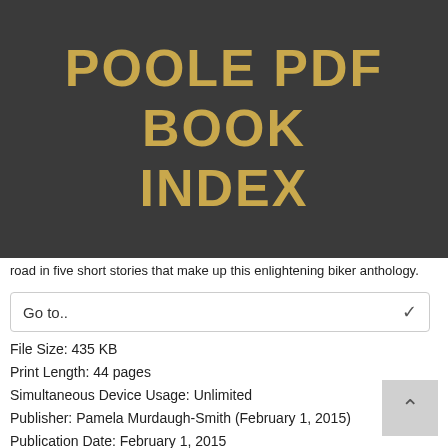POOLE PDF BOOK INDEX
road in five short stories that make up this enlightening biker anthology.
Go to..
File Size: 435 KB
Print Length: 44 pages
Simultaneous Device Usage: Unlimited
Publisher: Pamela Murdaugh-Smith (February 1, 2015)
Publication Date: February 1, 2015
Sold by: Amazon Digital Services LLC
Language: English
ASIN: B00T36Q0TM
Text-to-Speech: ::::
X-Ray:
Word Wise: Enabled
Lending: Not Enabled
Format: PDF ePub djvu ebook